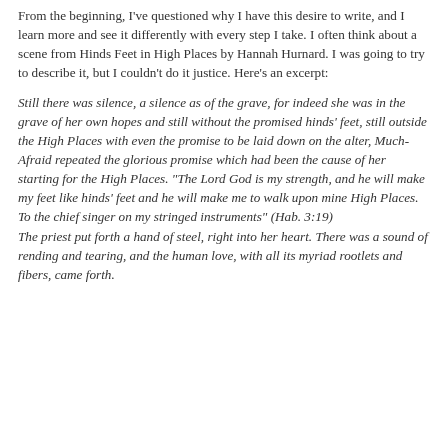From the beginning, I've questioned why I have this desire to write, and I learn more and see it differently with every step I take. I often think about a scene from Hinds Feet in High Places by Hannah Hurnard. I was going to try to describe it, but I couldn't do it justice. Here's an excerpt:
Still there was silence, a silence as of the grave, for indeed she was in the grave of her own hopes and still without the promised hinds' feet, still outside the High Places with even the promise to be laid down on the alter, Much-Afraid repeated the glorious promise which had been the cause of her starting for the High Places. "The Lord God is my strength, and he will make my feet like hinds' feet and he will make me to walk upon mine High Places. To the chief singer on my stringed instruments" (Hab. 3:19) The priest put forth a hand of steel, right into her heart. There was a sound of rending and tearing, and the human love, with all its myriad rootlets and fibers, came forth.